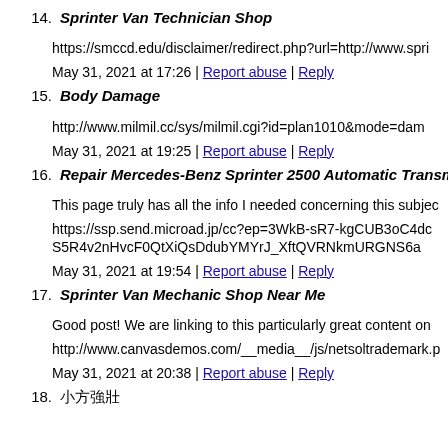14. Sprinter Van Technician Shop
https://smccd.edu/disclaimer/redirect.php?url=http://www.spri...
May 31, 2021 at 17:26 | Report abuse | Reply
15. Body Damage
http://www.milmil.cc/sys/milmil.cgi?id=plan1010&mode=dam...
May 31, 2021 at 19:25 | Report abuse | Reply
16. Repair Mercedes-Benz Sprinter 2500 Automatic Transmissio...
This page truly has all the info I needed concerning this subjec...
https://ssp.send.microad.jp/cc?ep=3WkB-sR7-kgCUB3oC4dc... S5R4v2nHvcF0QtXiQsDdubYMYrJ_XftQVRNkmURGNS6a...
May 31, 2021 at 19:54 | Report abuse | Reply
17. Sprinter Van Mechanic Shop Near Me
Good post! We are linking to this particularly great content on...
http://www.canvasdemos.com/__media__/js/netsoltrademark.p...
May 31, 2021 at 20:38 | Report abuse | Reply
18. (Japanese characters)